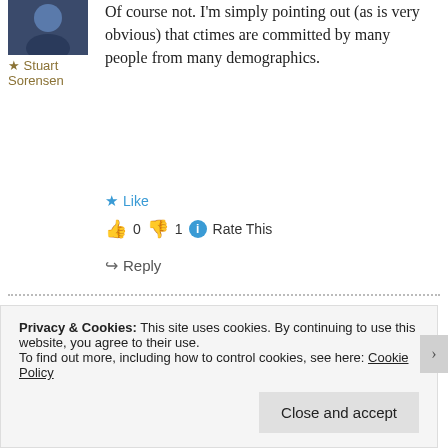[Figure (photo): Avatar photo of Stuart Sorensen - man in dark clothing]
★ Stuart Sorensen
Of course not. I'm simply pointing out (as is very obvious) that ctimes are committed by many people from many demographics.
★ Like
👍 0 👎 1 ℹ Rate This
↪ Reply
[Figure (photo): Avatar photo of second commenter - older man with white beard]
1 Jun 2013 at 3:59 pm
I haven't defended Islam. I loathe all 3
Privacy & Cookies: This site uses cookies. By continuing to use this website, you agree to their use. To find out more, including how to control cookies, see here: Cookie Policy
Close and accept